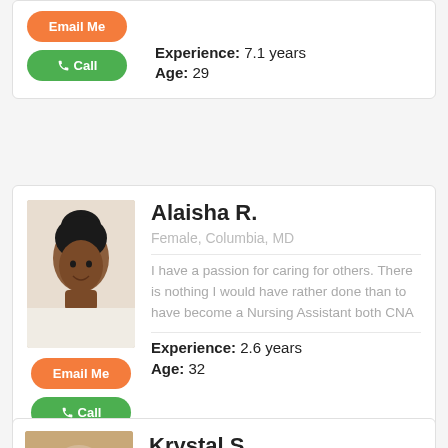Experience: 7.1 years
Age: 29
[Figure (photo): Profile photo of Alaisha R., a woman with hair in a bun, smiling]
Alaisha R.
Female, Columbia, MD
I have a passion for caring for others. There is nothing I would have rather done than to have become a Nursing Assistant both CNA
Experience: 2.6 years
Age: 32
Krystal S.